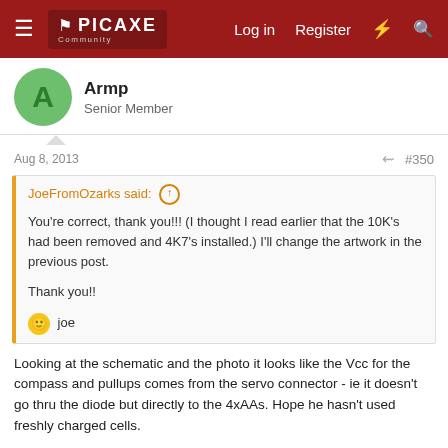PICAXE Community — Log in  Register
Armp
Senior Member
Aug 8, 2013   #350
JoeFromOzarks said: ↑

You're correct, thank you!!! (I thought I read earlier that the 10K's had been removed and 4K7's installed.) I'll change the artwork in the previous post.

Thank you!!

🙂 joe
Looking at the schematic and the photo it looks like the Vcc for the compass and pullups comes from the servo connector - ie it doesn't go thru the diode but directly to the 4xAAs. Hope he hasn't used freshly charged cells.